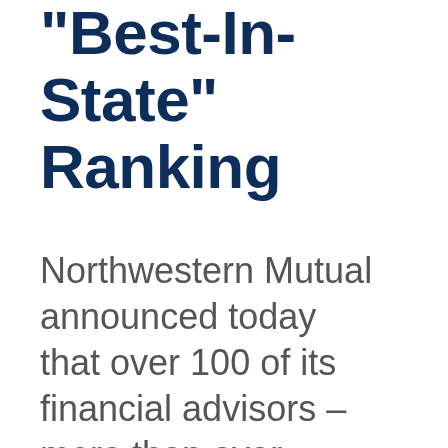"Best-In-State" Ranking
Northwestern Mutual announced today that over 100 of its financial advisors – more than ever before –